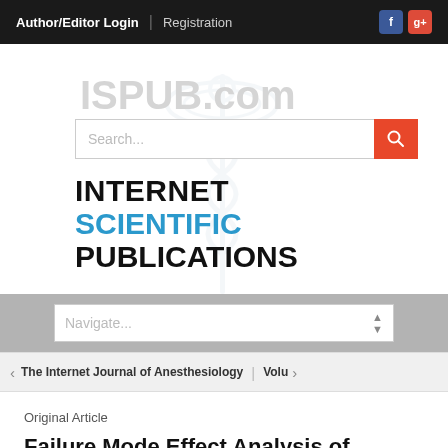Author/Editor Login | Registration
[Figure (logo): ISPUB.com watermark logo with caduceus symbol in background]
[Figure (screenshot): Search bar input field with orange search button]
INTERNET SCIENTIFIC PUBLICATIONS
[Figure (screenshot): Navigate... dropdown selector]
The Internet Journal of Anesthesiology | Volu>
Original Article
Failure Mode Effect Analysis of Patient